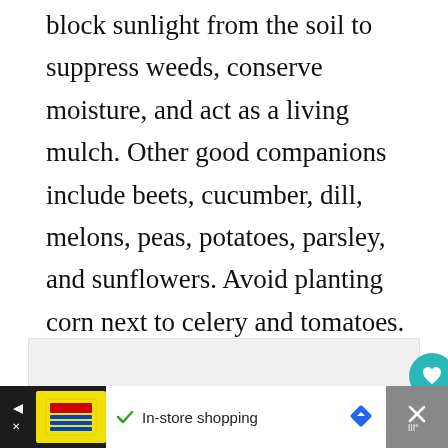block sunlight from the soil to suppress weeds, conserve moisture, and act as a living mulch. Other good companions include beets, cucumber, dill, melons, peas, potatoes, parsley, and sunflowers. Avoid planting corn next to celery and tomatoes.
[Figure (other): Gray placeholder content box with three navigation dots at center-bottom, a teal heart/like button on the right side, a like count of 607, and a share button below.]
[Figure (other): Bottom advertisement bar showing Lidl store icon, navigation arrow, checkmark with 'In-store shopping' text, a blue diamond navigation icon, and a close X button on a gray background.]